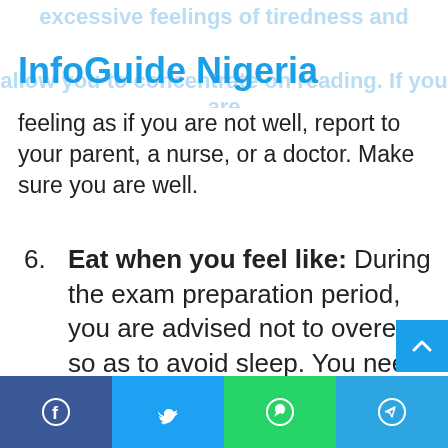InfoGuide Nigeria
excessive feelings of tiredness and allow you to concentrate on reading. If you are feeling as if you are not well, report to your parent, a nurse, or a doctor. Make sure you are well.
6. Eat when you feel like: During the exam preparation period, you are advised not to overeat, so as to avoid sleep. You need to eat little and light food whenever you feel like eating. Eat more of fruits, drink milk and glucose. This will help you to enhance retention.
Facebook | Twitter | WhatsApp | Telegram